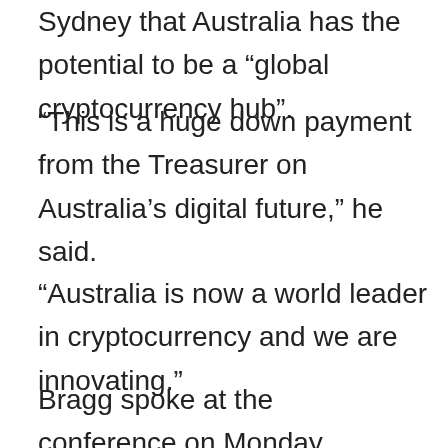Sydney that Australia has the potential to be a “global cryptocurrency hub”.
“This is a huge down payment from the Treasurer on Australia’s digital future,” he said.
“Australia is now a world leader in cryptocurrency and we are innovating.”
Bragg spoke at the conference on Monday alongside Financial Services